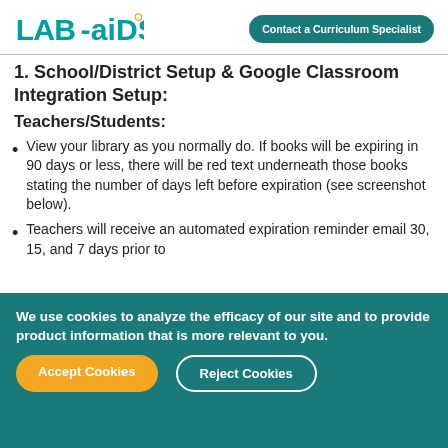LAB-AIDS | Contact a Curriculum Specialist
1. School/District Setup & Google Classroom Integration Setup:
Teachers/Students:
View your library as you normally do. If books will be expiring in 90 days or less, there will be red text underneath those books stating the number of days left before expiration (see screenshot below).
Teachers will receive an automated expiration reminder email 30, 15, and 7 days prior to
We use cookies to analyze the efficacy of our site and to provide product information that is more relevant to you.
Accept Cookies | Reject Cookies